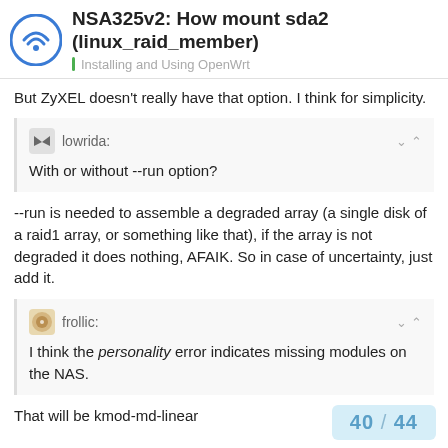NSA325v2: How mount sda2 (linux_raid_member) — Installing and Using OpenWrt
But ZyXEL doesn't really have that option. I think for simplicity.
lowrida: With or without --run option?
--run is needed to assemble a degraded array (a single disk of a raid1 array, or something like that), if the array is not degraded it does nothing, AFAIK. So in case of uncertainty, just add it.
frollic: I think the personality error indicates missing modules on the NAS.
That will be kmod-md-linear
40 / 44